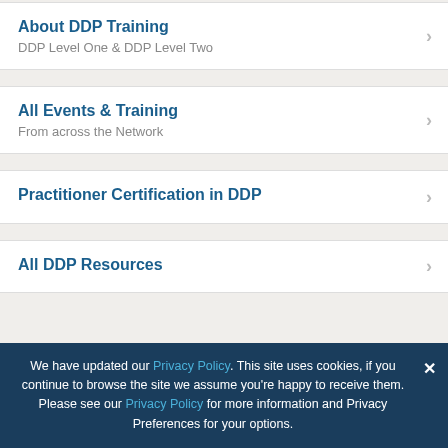About DDP Training
DDP Level One & DDP Level Two
All Events & Training
From across the Network
Practitioner Certification in DDP
All DDP Resources
DDP Connect is UK CIC is a not-for-profit Community Interest Company...
We have updated our Privacy Policy. This site uses cookies, if you continue to browse the site we assume you're happy to receive them. Please see our Privacy Policy for more information and Privacy Preferences for your options.